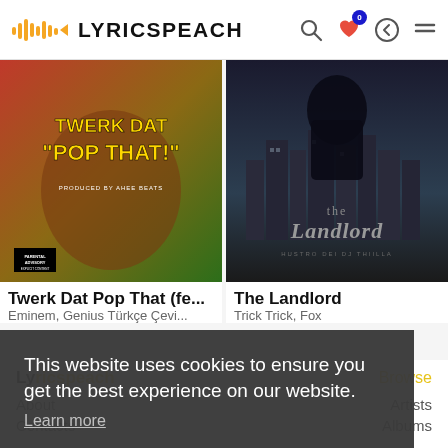LYRICSPEACH
[Figure (photo): Album cover for 'Twerk Dat Pop That' — colorful text on hip-hop style background with Parental Advisory label]
[Figure (photo): Album cover for 'The Landlord' by Trick Trick — dark moody cityscape with gothic text]
Twerk Dat Pop That (fe...
Eminem, Genius Türkçe Çevi...
The Landlord
Trick Trick, Fox
This website uses cookies to ensure you get the best experience on our website.
Learn more
Got it!
Lyricspeach
Browse
About
Artists
Contacts
Albums